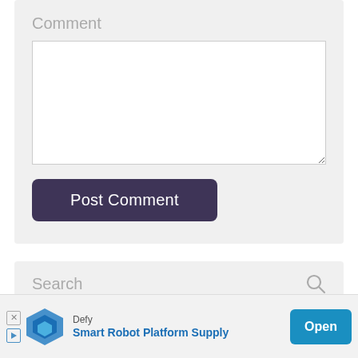Comment
[Figure (screenshot): Comment text area input box, white background with border and resize handle]
[Figure (screenshot): Post Comment button, dark purple/indigo rounded rectangle with white text]
[Figure (screenshot): Search bar with placeholder text 'Search' and magnifying glass icon on grey background]
Recent posts
[Figure (screenshot): Advertisement banner: Defy - Smart Robot Platform Supply with Open button]